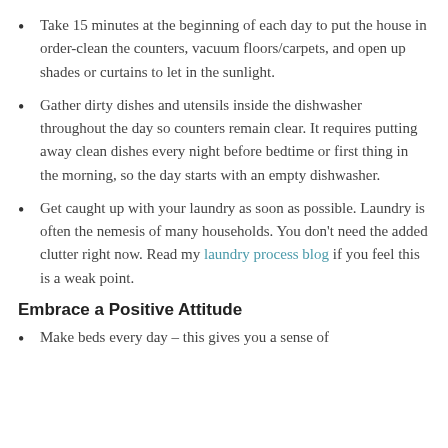Take 15 minutes at the beginning of each day to put the house in order-clean the counters, vacuum floors/carpets, and open up shades or curtains to let in the sunlight.
Gather dirty dishes and utensils inside the dishwasher throughout the day so counters remain clear. It requires putting away clean dishes every night before bedtime or first thing in the morning, so the day starts with an empty dishwasher.
Get caught up with your laundry as soon as possible. Laundry is often the nemesis of many households. You don’t need the added clutter right now. Read my laundry process blog if you feel this is a weak point.
Embrace a Positive Attitude
Make beds every day – this gives you a sense of